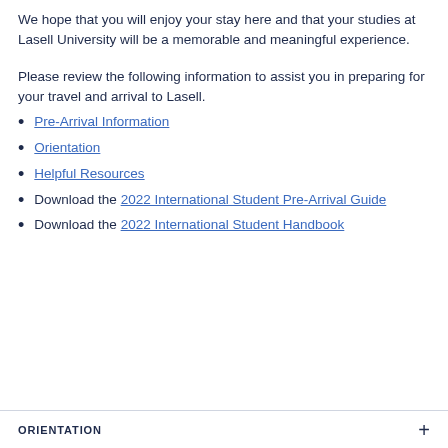We hope that you will enjoy your stay here and that your studies at Lasell University will be a memorable and meaningful experience.
Please review the following information to assist you in preparing for your travel and arrival to Lasell.
Pre-Arrival Information
Orientation
Helpful Resources
Download the 2022 International Student Pre-Arrival Guide
Download the 2022 International Student Handbook
ORIENTATION